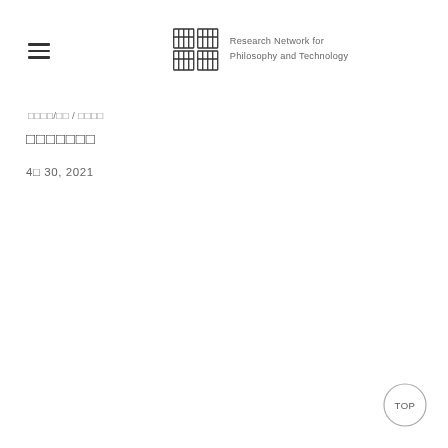Research Network for Philosophy and Technology
□□□□/□□ / □□□□
□□□□□□□
4□ 30, 2021